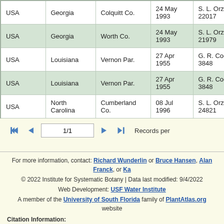| Country | State | County | Date | Collector |
| --- | --- | --- | --- | --- |
| USA | Georgia | Colquitt Co. | 24 May 1993 | S. L. Orzell 22017 |
| USA | Georgia | Worth Co. | 24 May 1993 | S. L. Orzell 21979 |
| USA | Louisiana | Vernon Par. | 27 Apr 1955 | G. R. Cooley 3848 |
| USA | Louisiana | Vernon Par. | 27 Apr 1955 | G. R. Cooley 3848 |
| USA | North Carolina | Cumberland Co. | 08 Jul 1996 | S. L. Orzell 24821 |
1/1
Records per
For more information, contact: Richard Wunderlin or Bruce Hansen, Alan Franck, or Ka
© 2022 Institute for Systematic Botany | Data last modified: 9/4/2022
Web Development: USF Water Institute
A member of the University of South Florida family of PlantAtlas.org website
Citation Information:
Wunderlin, R. P., B. F. Hansen, A. R. Franck, and F. B. Essig. 2022. Atlas of Florida Plants (http://florida.plantatlas.usf.edu/). [S. M. Landry and K. N. Campbell (application developm Water Institute.] Institute for Systematic Botany, University of South Florida, Tampa.